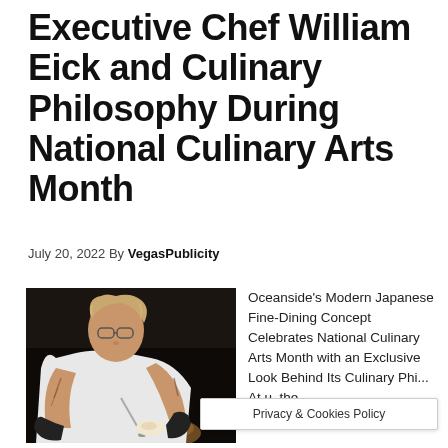Executive Chef William Eick and Culinary Philosophy During National Culinary Arts Month
July 20, 2022 By VegasPublicity
[Figure (photo): A chef wearing a white t-shirt and black gloves leans over a wooden bowl plating food in a dark kitchen setting. The chef has tattoos on his arms and is wearing glasses.]
Oceanside's Modern Japanese Fine-Dining Concept Celebrates National Culinary Arts Month with an Exclusive Look Behind Its Culinary Philosophy. At Nobu, the [dining...]
Privacy & Cookies Policy